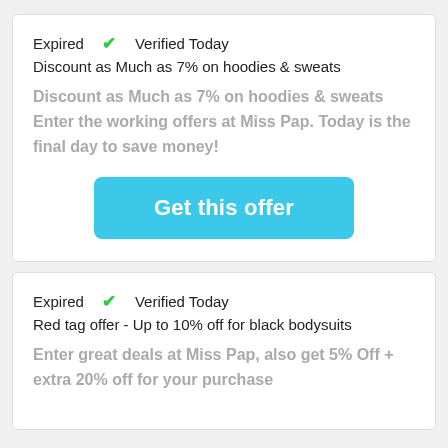Expired ✓ Verified Today
Discount as Much as 7% on hoodies & sweats
Discount as Much as 7% on hoodies & sweats—Enter the working offers at Miss Pap. Today is the final day to save money!
[Figure (other): Cyan 'Get this offer' button]
Expired ✓ Verified Today
Red tag offer - Up to 10% off for black bodysuits
Enter great deals at Miss Pap, also get 5% Off + extra 20% off for your purchase